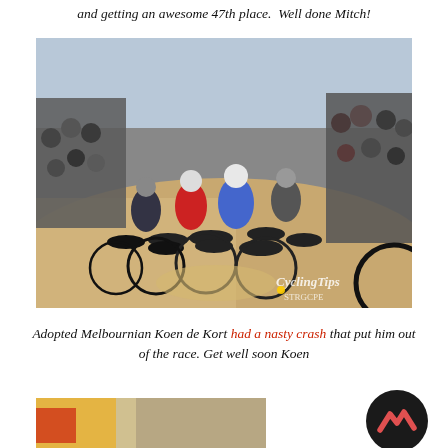and getting an awesome 47th place.  Well done Mitch!
[Figure (photo): Cycling race on a dirt/cobblestone section, multiple cyclists racing in a tight group with spectators on the sides. CyclingTips watermark visible in the bottom-right corner.]
Adopted Melbournian Koen de Kort had a nasty crash that put him out of the race. Get well soon Koen
[Figure (photo): Partial view of a cycling race scene, blurred/cropped at bottom of page.]
[Figure (logo): Dark circular logo with red/salmon chevron or mountain shape icon in the center.]